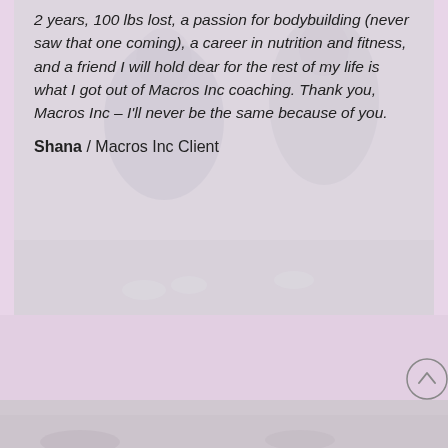[Figure (photo): A faded/semi-transparent photo of two people exercising or doing fitness activity, used as background behind a testimonial quote card]
2 years, 100 lbs lost, a passion for bodybuilding (never saw that one coming), a career in nutrition and fitness, and a friend I will hold dear for the rest of my life is what I got out of Macros Inc coaching. Thank you, Macros Inc – I'll never be the same because of you.
Shana / Macros Inc Client